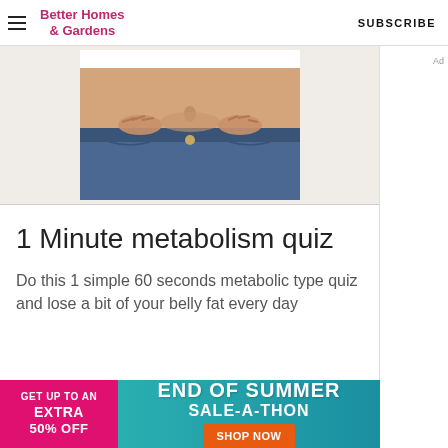Better Homes & Gardens  SUBSCRIBE
[Figure (photo): Photo of a person pinching belly fat area around waist wearing jeans, cropped to show midsection only]
1 Minute metabolism quiz
Do this 1 simple 60 seconds metabolic type quiz and lose a bit of your belly fat every day
[Figure (infographic): Advertisement banner: GET UP TO AN EXTRA 50% OFF | END OF SUMMER SALE-A-THON | SHOP NOW]